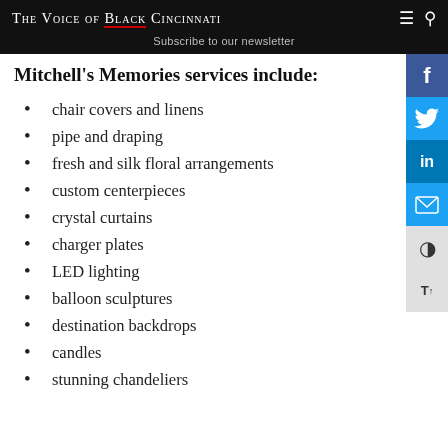The Voice of Black Cincinnati — Subscribe to our newsletter
Mitchell's Memories services include:
chair covers and linens
pipe and draping
fresh and silk floral arrangements
custom centerpieces
crystal curtains
charger plates
LED lighting
balloon sculptures
destination backdrops
candles
stunning chandeliers